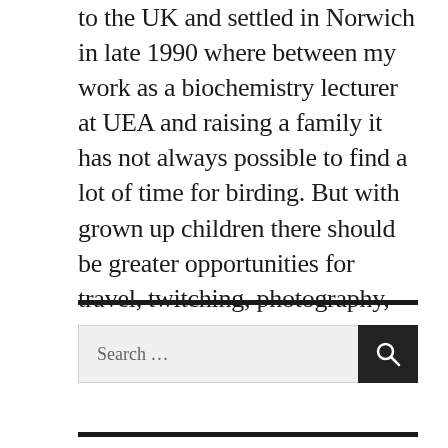to the UK and settled in Norwich in late 1990 where between my work as a biochemistry lecturer at UEA and raising a family it has not always possible to find a lot of time for birding. But with grown up children there should be greater opportunities for travel, twitching, photography, mothing and even picking up a few new skills along the way.
[Figure (other): Search bar with text input field showing 'Search ...' placeholder and a black search button with magnifying glass icon]